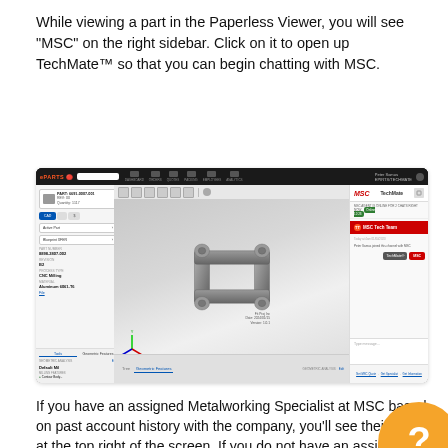While viewing a part in the Paperless Viewer, you will see "MSC" on the right sidebar. Click on it to open up TechMate™ so that you can begin chatting with MSC.
[Figure (screenshot): Screenshot of the Paperless Parts (ePARTS) web application showing a 3D CAD viewer with a mechanical bracket part, left sidebar with part details (part number, revision, process type, material: Aluminum 6061-T6), and the TechMate MSC chat panel open on the right side with MSC Tech Team shown online.]
If you have an assigned Metalworking Specialist at MSC based on past account history with the company, you'll see their name at the top right of the screen. If you do not have an assigned Specialist, your TechMate™ account will default to messa Tech Team. Either way, you are in great hands with a knowledgeable MSC staff member on the other side of